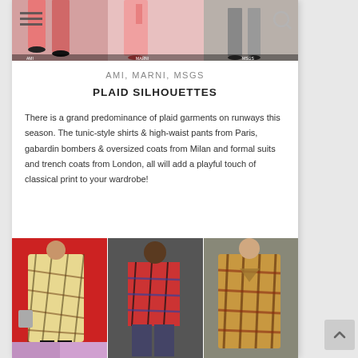[Figure (photo): Top banner showing fashion runway models in pink/red outfits with hamburger menu icon and search icon overlay]
AMI, MARNI, MSGS
PLAID SILHOUETTES
There is a grand predominance of plaid garments on runways this season. The tunic-style shirts & high-waist pants from Paris, gabardin bombers & oversized coats from Milan and formal suits and trench coats from London, all will add a playful touch of classical print to your wardrobe!
[Figure (photo): Three fashion runway photos side by side showing models wearing plaid/tartan coats and jackets]